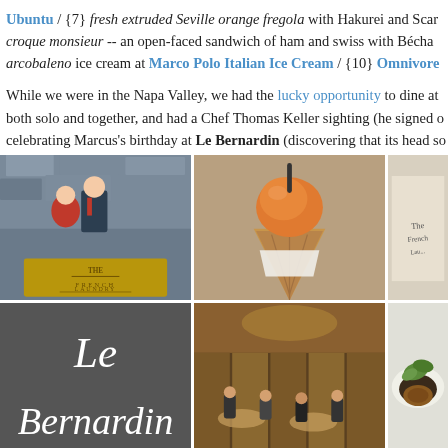Ubuntu / {7} fresh extruded Seville orange fregola with Hakurei and Scarlet croque monsieur -- an open-faced sandwich of ham and swiss with Béchan arcobaleno ice cream at Marco Polo Italian Ice Cream / {10} Omnivore
While we were in the Napa Valley, we had the lucky opportunity to dine at both solo and together, and had a Chef Thomas Keller sighting (he signed c celebrating Marcus's birthday at Le Bernardin (discovering that its head so and my new bean counting role at another firm with Eleven Madison Park
[Figure (photo): Grid of 6 photos: couple posing in front of The French Laundry sign, ice cream cone, partial French Laundry text, Le Bernardin script logo on dark background, restaurant interior with diners, food dish with greens]